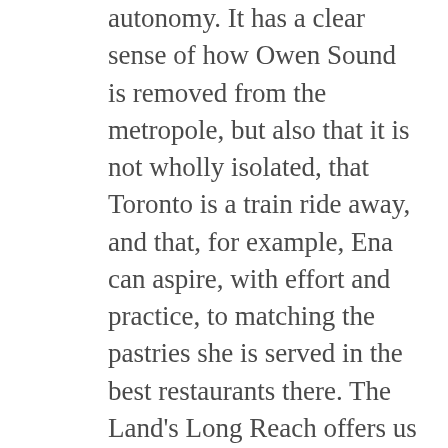autonomy. It has a clear sense of how Owen Sound is removed from the metropole, but also that it is not wholly isolated, that Toronto is a train ride away, and that, for example, Ena can aspire, with effort and practice, to matching the pastries she is served in the best restaurants there. The Land's Long Reach offers us the past in full colour, the past, not as an escape from or a reassuring simplification of the complexities of the current day, but as a place that we could have lived, not because it is the same as the